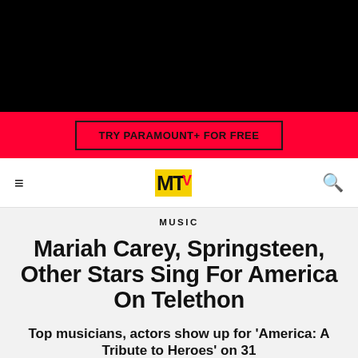[Figure (screenshot): Black navigation/hero bar at top of MTV website]
TRY PARAMOUNT+ FOR FREE
MTV logo navigation bar with hamburger menu and search icon
MUSIC
Mariah Carey, Springsteen, Other Stars Sing For America On Telethon
Top musicians, actors show up for 'America: A Tribute to Heroes' on 31